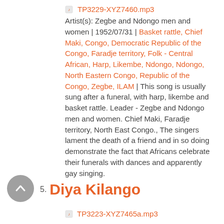TP3229-XYZ7460.mp3
Artist(s): Zegbe and Ndongo men and women | 1952/07/31 | Basket rattle, Chief Maki, Congo, Democratic Republic of the Congo, Faradje territory, Folk - Central African, Harp, Likembe, Ndongo, Ndongo, North Eastern Congo, Republic of the Congo, Zegbe, ILAM | This song is usually sung after a funeral, with harp, likembe and basket rattle. Leader - Zegbe and Ndongo men and women. Chief Maki, Faradje territory, North East Congo., The singers lament the death of a friend and in so doing demonstrate the fact that Africans celebrate their funerals with dances and apparently gay singing.
5. Diya Kilango
TP3223-XYZ7465a.mp3